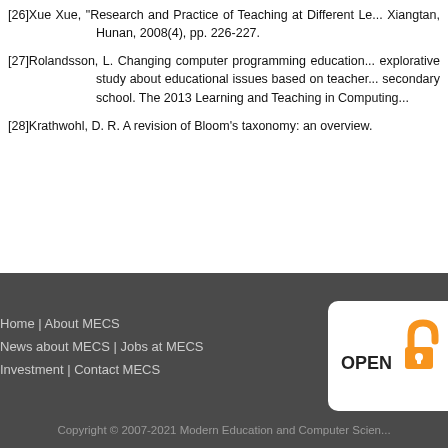[26]Xue Xue, "Research and Practice of Teaching at Different Le... Xiangtan, Hunan, 2008(4), pp. 226-227.
[27]Rolandsson, L. Changing computer programming education... explorative study about educational issues based on teacher... secondary school. The 2013 Learning and Teaching in Computing...
[28]Krathwohl, D. R. A revision of Bloom's taxonomy: an overview.
Home | About MECS
News about MECS | Jobs at MECS
Investment | Contact MECS
Copyright © 2007-2021 Modern Education and Computer Scien...